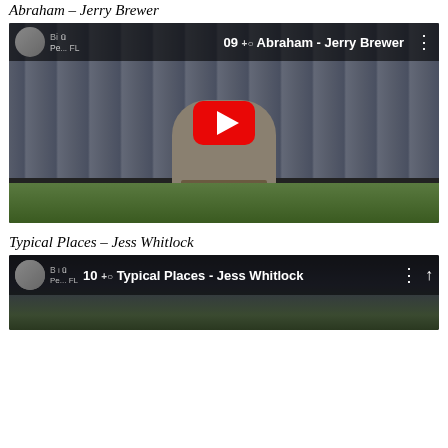Abraham – Jerry Brewer
[Figure (screenshot): YouTube video thumbnail for '09 Abraham - Jerry Brewer' showing a man in a suit speaking at a podium with a red YouTube play button overlay]
Typical Places – Jess Whitlock
[Figure (screenshot): YouTube video thumbnail for '10 Typical Places - Jess Whitlock' showing partial preview with channel avatar and title bar]